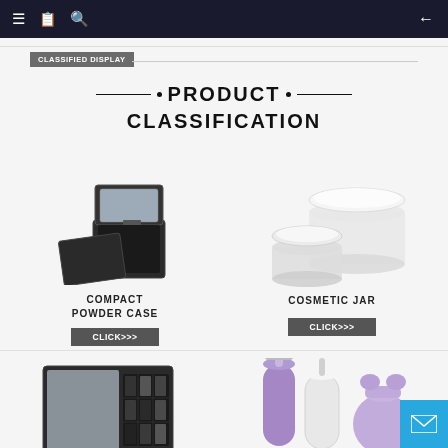Navigation bar with menu, catalog, search icons and back arrow
CLASSIFIED DISPLAY
PRODUCT CLASSIFICATION
[Figure (photo): Compact powder case - black square cosmetic compact with mirror open]
COMPACT POWDER CASE
CLICK>>>
[Figure (photo): Cosmetic jar - clear/white loose powder jar containers]
COSMETIC JAR
CLICK>>>
[Figure (photo): Eyeshadow palette - black rectangular magnetic palette with grid of pans]
[Figure (photo): Cosmetic bottles/dispensers - purple and white pump bottles]